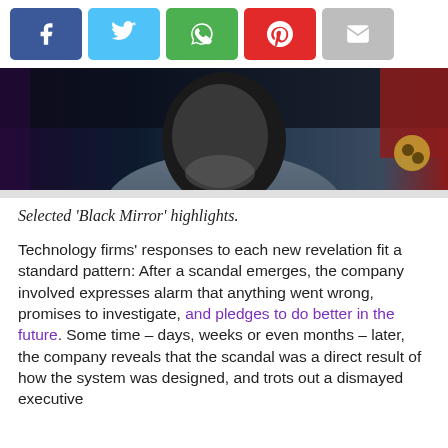[Figure (infographic): Social media sharing buttons: Facebook (blue), Twitter (light blue), WhatsApp (green), Pinterest (red), Email (gray)]
[Figure (photo): Dark-toned image of a person's face partially in shadow, possibly a still from Black Mirror TV show]
Selected ‘Black Mirror’ highlights.
Technology firms’ responses to each new revelation fit a standard pattern: After a scandal emerges, the company involved expresses alarm that anything went wrong, promises to investigate, and pledges to do better in the future. Some time – days, weeks or even months – later, the company reveals that the scandal was a direct result of how the system was designed, and trots out a dismayed executive